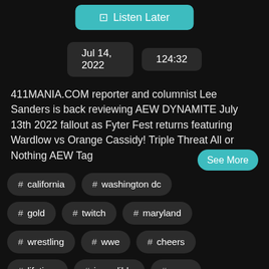Listen Later
Jul 14, 2022    124:32
411MANIA.COM reporter and columnist Lee Sanders is back reviewing AEW DYNAMITE July 13th 2022 fallout as Fyter Fest returns featuring Wardlow vs Orange Cassidy! Triple Threat All or Nothing AEW Tag
See More
# california
# washington dc
# gold
# twitch
# maryland
# wrestling
# wwe
# cheers
# lifetime
# incredible
# sees